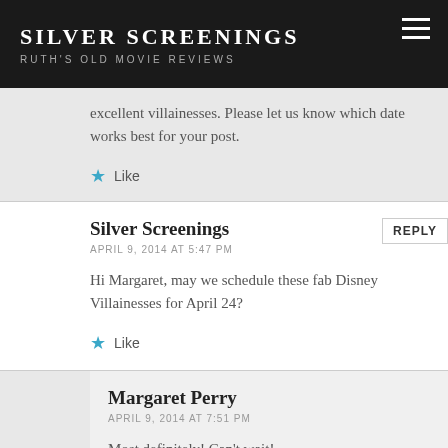SILVER SCREENINGS
RUTH'S OLD MOVIE REVIEWS
excellent villainesses. Please let us know which date works best for your post.
Like
Silver Screenings
APRIL 9, 2014 AT 5:47 PM
Hi Margaret, may we schedule these fab Disney Villainesses for April 24?
Like
Margaret Perry
APRIL 9, 2014 AT 7:51 PM
Most definitely! Can't wait!